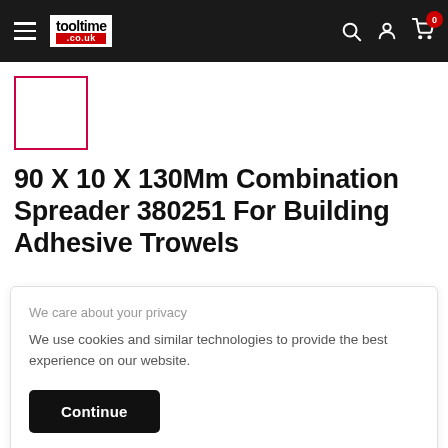tooltime.co.uk navigation bar with hamburger menu, logo, search, account, and cart icons (badge: 0)
[Figure (photo): Product thumbnail placeholder box with red border on white background]
90 X 10 X 130Mm Combination Spreader 380251 For Building Adhesive Trowels
We care about your privacy
We use cookies and similar technologies to provide the best experience on our website.
Continue